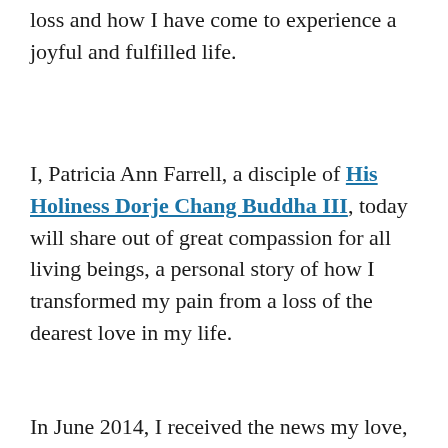loss and how I have come to experience a joyful and fulfilled life.
I, Patricia Ann Farrell, a disciple of His Holiness Dorje Chang Buddha III, today will share out of great compassion for all living beings, a personal story of how I transformed my pain from a loss of the dearest love in my life.
In June 2014, I received the news my love,